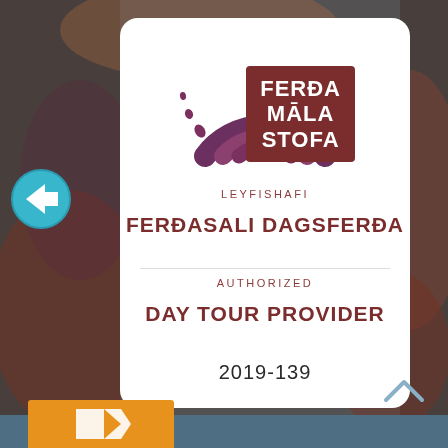[Figure (logo): Ferðamálastofa (Iceland Tourism board) certification badge showing an authorized day tour provider license numbered 2019-139, displayed on a webpage with marbled reddish-brown background and slate-blue UI]